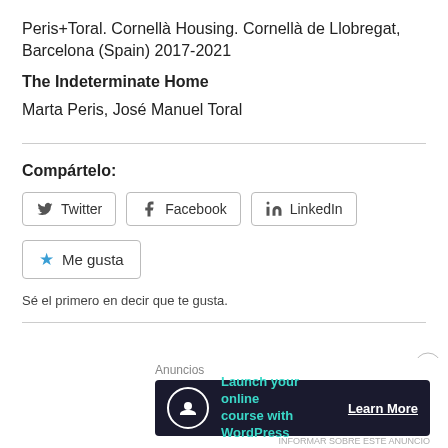Peris+Toral. Cornellà Housing. Cornellà de Llobregat, Barcelona (Spain) 2017-2021
The Indeterminate Home
Marta Peris, José Manuel Toral
Compártelo:
[Figure (other): Social share buttons: Twitter, Facebook, LinkedIn]
[Figure (other): Me gusta button with star icon]
Sé el primero en decir que te gusta.
[Figure (other): Advertisement banner: Launch your online course with WordPress — Learn More]
Anuncios